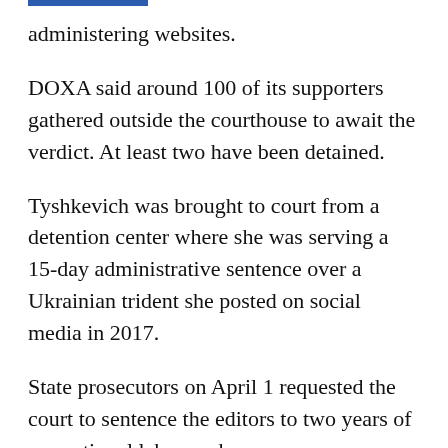administering websites.
DOXA said around 100 of its supporters gathered outside the courthouse to await the verdict. At least two have been detained.
Tyshkevich was brought to court from a detention center where she was serving a 15-day administrative sentence over a Ukrainian trident she posted on social media in 2017.
State prosecutors on April 1 requested the court to sentence the editors to two years of correctional labor each.
Individuals sentenced to correctional labor must pay